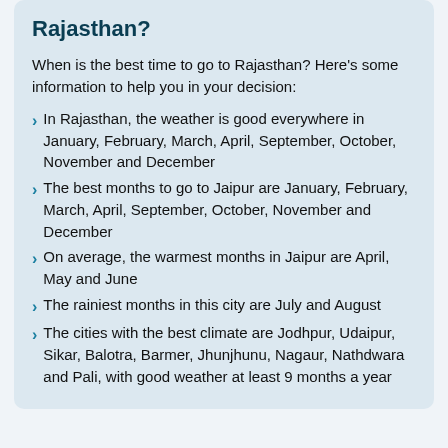Rajasthan?
When is the best time to go to Rajasthan? Here's some information to help you in your decision:
In Rajasthan, the weather is good everywhere in January, February, March, April, September, October, November and December
The best months to go to Jaipur are January, February, March, April, September, October, November and December
On average, the warmest months in Jaipur are April, May and June
The rainiest months in this city are July and August
The cities with the best climate are Jodhpur, Udaipur, Sikar, Balotra, Barmer, Jhunjhunu, Nagaur, Nathdwara and Pali, with good weather at least 9 months a year